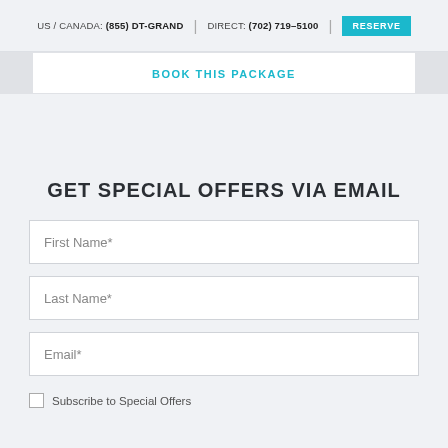US / CANADA: (855) DT-GRAND | DIRECT: (702) 719-5100 | RESERVE
BOOK THIS PACKAGE
GET SPECIAL OFFERS VIA EMAIL
First Name*
Last Name*
Email*